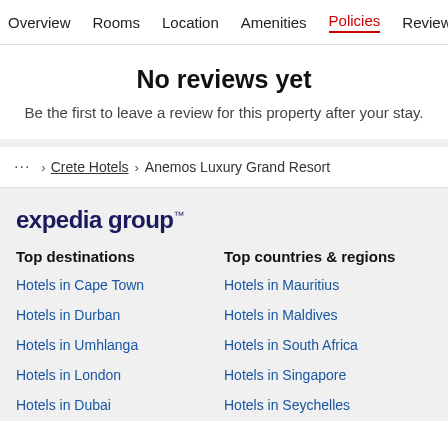Overview  Rooms  Location  Amenities  Policies  Reviews
No reviews yet
Be the first to leave a review for this property after your stay.
... > Crete Hotels > Anemos Luxury Grand Resort
[Figure (logo): Expedia group logo in dark navy text]
Top destinations
Hotels in Cape Town
Hotels in Durban
Hotels in Umhlanga
Hotels in London
Hotels in Dubai
Top countries & regions
Hotels in Mauritius
Hotels in Maldives
Hotels in South Africa
Hotels in Singapore
Hotels in Seychelles